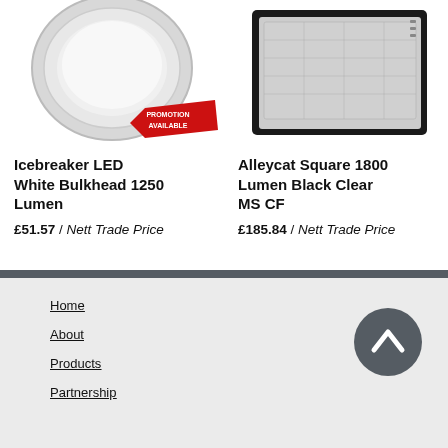[Figure (photo): Icebreaker LED White Bulkhead circular lighting product with red promotion available badge]
Icebreaker LED White Bulkhead 1250 Lumen
£51.57 / Nett Trade Price
[Figure (photo): Alleycat Square 1800 Lumen Black Clear MS CF rectangular emergency lighting product]
Alleycat Square 1800 Lumen Black Clear MS CF
£185.84 / Nett Trade Price
Home
About
Products
Partnership